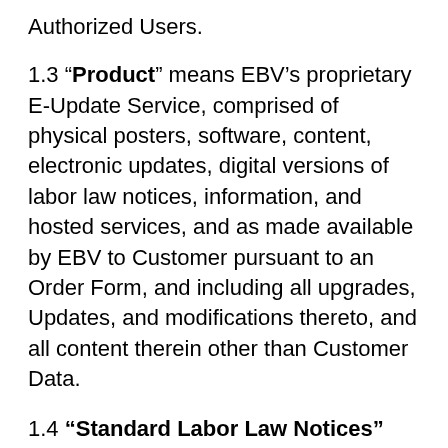Authorized Users.
1.3 "Product" means EBV's proprietary E-Update Service, comprised of physical posters, software, content, electronic updates, digital versions of labor law notices, information, and hosted services, and as made available by EBV to Customer pursuant to an Order Form, and including all upgrades, Updates, and modifications thereto, and all content therein other than Customer Data.
1.4 "Standard Labor Law Notices" means the labor law notices which: (a) are mandatory for employers to provide to employees per applicable federal labor laws of the United States and the